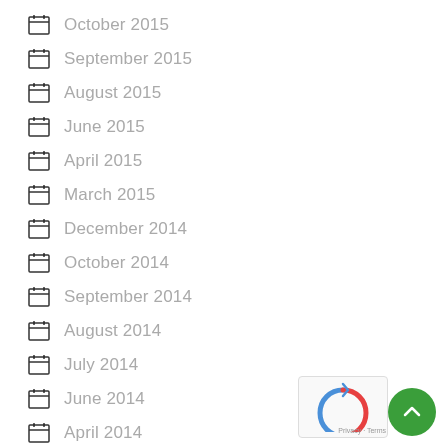October 2015
September 2015
August 2015
June 2015
April 2015
March 2015
December 2014
October 2014
September 2014
August 2014
July 2014
June 2014
April 2014
March 2014
February 2014
January 2014
December 2013